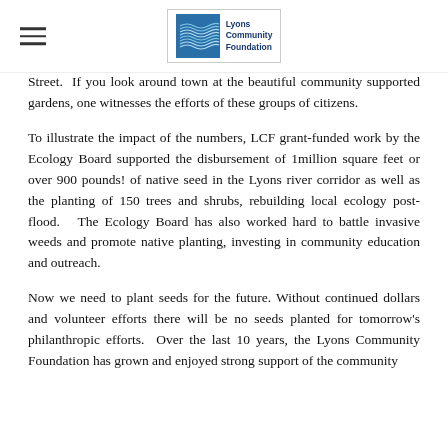Lyons Community Foundation
Street. If you look around town at the beautiful community supported gardens, one witnesses the efforts of these groups of citizens.
To illustrate the impact of the numbers, LCF grant-funded work by the Ecology Board supported the disbursement of 1million square feet or over 900 pounds! of native seed in the Lyons river corridor as well as the planting of 150 trees and shrubs, rebuilding local ecology post-flood.  The Ecology Board has also worked hard to battle invasive weeds and promote native planting, investing in community education and outreach.
Now we need to plant seeds for the future. Without continued dollars and volunteer efforts there will be no seeds planted for tomorrow's philanthropic efforts.  Over the last 10 years, the Lyons Community Foundation has grown and enjoyed strong support of the community